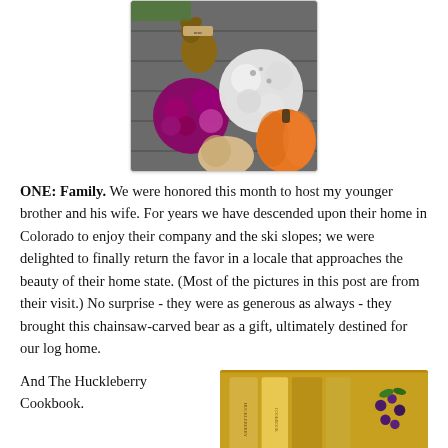[Figure (photo): A fall porch scene with purple and white mums (chrysanthemums), a pumpkin, and what appears to be a chainsaw-carved bear holding a 'Home' sign, arranged on a wooden deck.]
ONE: Family.  We were honored this month to host my younger brother and his wife.  For years we have descended upon their home in Colorado to enjoy their company and the ski slopes; we were delighted to finally return the favor in a locale that approaches the beauty of their home state.  (Most of the pictures in this post are from their visit.) No surprise - they were as generous as always - they brought this chainsaw-carved bear as a gift, ultimately destined for our log home.
And The Huckleberry Cookbook.
[Figure (photo): A photo showing what appears to be a huckleberry cookbook and some huckleberry-related items, with warm yellow/golden tones.]